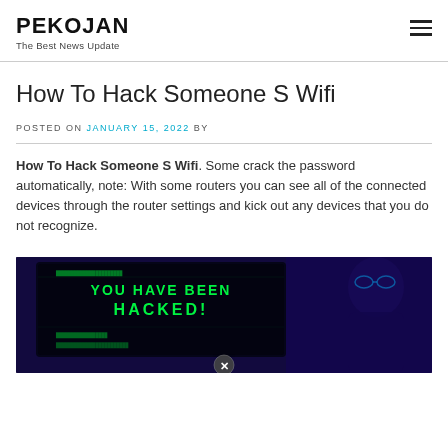PEKOJAN
The Best News Update
How To Hack Someone S Wifi
POSTED ON JANUARY 15, 2022 BY
How To Hack Someone S Wifi. Some crack the password automatically, note: With some routers you can see all of the connected devices through the router settings and kick out any devices that you do not recognize.
[Figure (photo): Dark hacking-themed image showing a computer screen displaying 'YOU HAVE BEEN HACKED!' text in green neon letters against a dark blue background, with a person visible on the right side. A close button (X) is visible at the bottom center.]